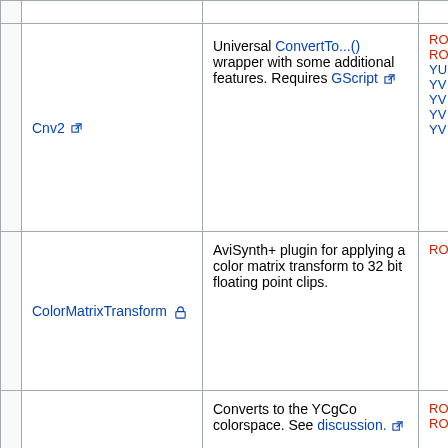|  | Name | Description | Links |
| --- | --- | --- | --- |
|  | Cnv2 [ext] | Universal ConvertTo...() wrapper with some additional features. Requires GScript [ext] | RO... RO... YU... YV... YV... YV... YV... |
|  | ColorMatrixTransform [lock] | AviSynth+ plugin for applying a color matrix transform to 32 bit floating point clips. | RO... |
|  | ConvertToYCgCo | Converts to the YCgCo colorspace. See discussion. [ext] | RO... RO... |
|  | InterleavedConversions | Tools for interleaving and de-interleaving 2, 3, and 4-channel data. |  |
|  | (partial) AviSynth+ plugin to convert to LChab |  |  |